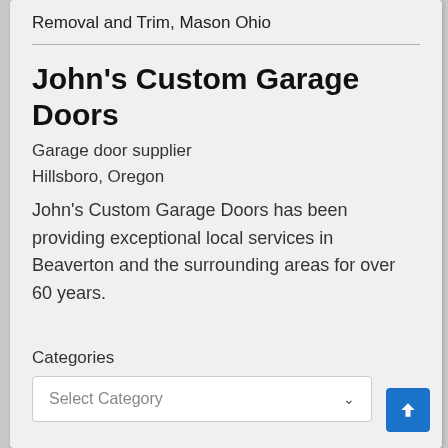Removal and Trim, Mason Ohio
John's Custom Garage Doors
Garage door supplier
Hillsboro, Oregon
John's Custom Garage Doors has been providing exceptional local services in Beaverton and the surrounding areas for over 60 years.
Categories
Select Category